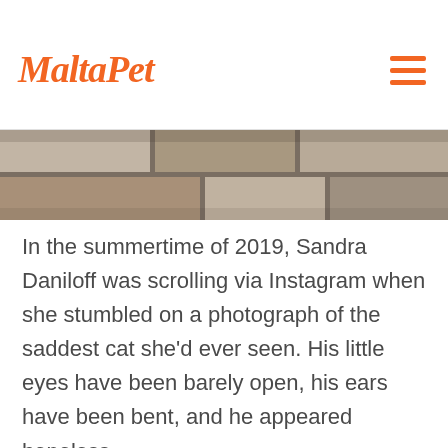MaltaPet
[Figure (photo): Cropped photo showing a stone or tiled wall in muted brown and grey tones, appearing as a banner/hero image at the top of the article.]
In the summertime of 2019, Sandra Daniloff was scrolling via Instagram when she stumbled on a photograph of the saddest cat she'd ever seen. His little eyes have been barely open, his ears have been bent, and he appeared hopeless.